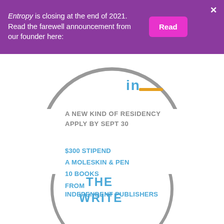Entropy is closing at the end of 2021. Read the farewell announcement from our founder here:
[Figure (logo): Circular arc logo for 'The Write Residency' - top portion showing partial circle with 'in' text and golden line]
A NEW KIND OF RESIDENCY
APPLY BY SEPT 30
$300 STIPEND
A MOLESKIN & PEN
10 BOOKS
FROM
INDEPENDENT PUBLISHERS
[Figure (logo): Circular logo for 'The Write Residency' - bottom portion showing circle with 'THE WRITE' text in blue]